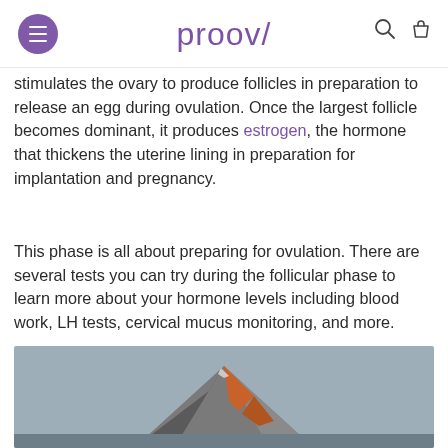proov
stimulates the ovary to produce follicles in preparation to release an egg during ovulation. Once the largest follicle becomes dominant, it produces estrogen, the hormone that thickens the uterine lining in preparation for implantation and pregnancy.
This phase is all about preparing for ovulation. There are several tests you can try during the follicular phase to learn more about your hormone levels including blood work, LH tests, cervical mucus monitoring, and more.
[Figure (photo): Mountain peak with orange/red illumination on its face against a grey-blue sky background]